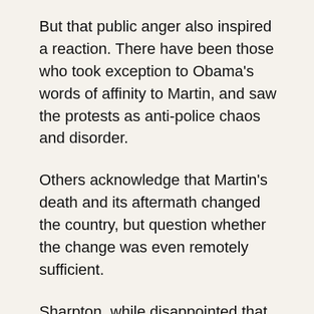But that public anger also inspired a reaction. There have been those who took exception to Obama's words of affinity to Martin, and saw the protests as anti-police chaos and disorder.
Others acknowledge that Martin's death and its aftermath changed the country, but question whether the change was even remotely sufficient.
Sharpton, while disappointed that there has not been more federal legislation put into place, said a “cultural change” has happened.
He pointed to the case of Ahmaud Arbery, the 25-year-old Black man chased and killed in 2020 by